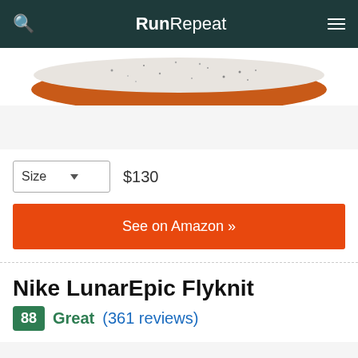RunRepeat
[Figure (photo): Bottom/sole view of a running shoe (Nike LunarEpic Flyknit) partially visible at top of page — white speckled midsole with orange rubber outsole.]
Size  $130
See on Amazon »
Nike LunarEpic Flyknit
88  Great (361 reviews)